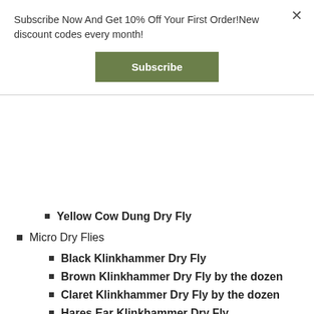Subscribe Now And Get 10% Off Your First Order!New discount codes every month!
[Figure (other): Subscribe button — green rectangular button with white bold text 'Subscribe']
Yellow Cow Dung Dry Fly
Micro Dry Flies
Black Klinkhammer Dry Fly
Brown Klinkhammer Dry Fly by the dozen
Claret Klinkhammer Dry Fly by the dozen
Hares Ear Klinkhammer Dry Fly
Hares Ear Klinkhammer Dry Fly by the dozen
Micro Dry Black Midge
Micro Dry Blue Dun Midge